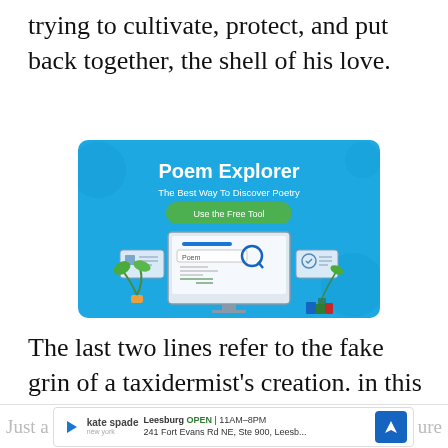trying to cultivate, protect, and put back together, the shell of his love.
[Figure (infographic): Poem Explorer advertisement banner. Blue background with bold white text 'Poem Explorer', subtitle 'The Best Way To Discover Poetry', green button 'Use the Free Tool', and illustration of a desktop computer with a poem search interface, plants, and books.]
The last two lines refer to the fake grin of a taxidermist's creation. in this case. a bobcat.
Just a ... Leesburg OPEN 11AM-8PM 241 Fort Evans Rd NE, Ste 900, Leesb... ure